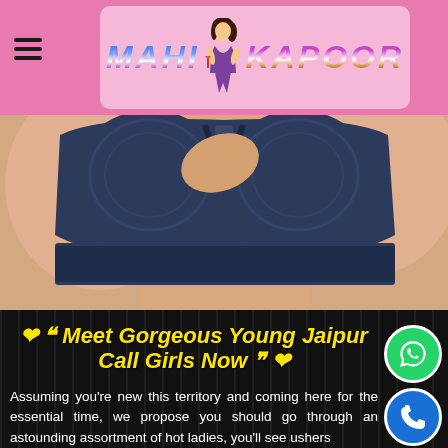[Figure (logo): Mahi Kapoor brand logo with illustrated woman character on pink background]
[Figure (photo): Close-up photo of woman wearing dark navy blue lace bralette/bra top]
❤ ““  Meet Gorgeous Young Jaipur Call Girls Now  ”” ❤
Assuming you're new this territory and coming here for the essential time, we propose you should go through an astounding assortment of hot ladies, you'll see ushers